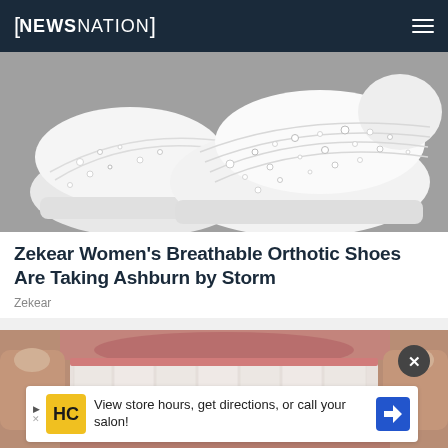NewsNation
[Figure (photo): White knit sneakers with rhinestone/crystal embellishments on a gray surface]
Zekear Women's Breathable Orthotic Shoes Are Taking Ashburn by Storm
Zekear
[Figure (photo): Close-up of human teeth and gums being held open by fingers]
View store hours, get directions, or call your salon!